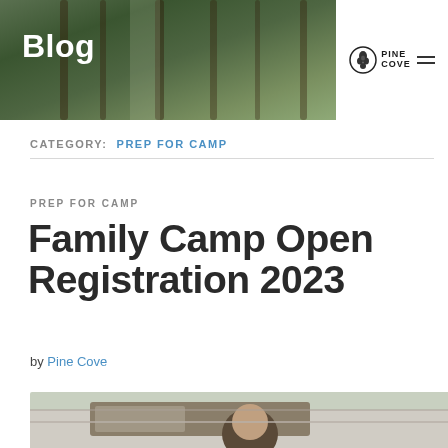Blog
CATEGORY:  PREP FOR CAMP
PREP FOR CAMP
Family Camp Open Registration 2023
by Pine Cove
[Figure (photo): Person leaning out of a car window, photo partially cropped at bottom of page]